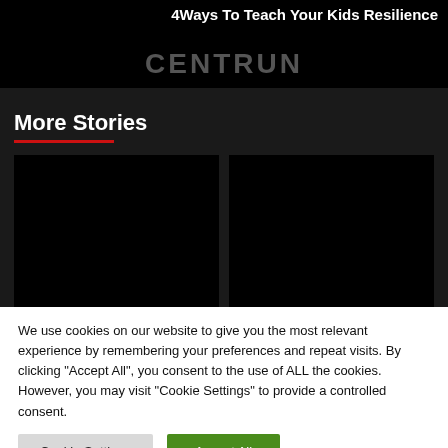4 Ways To Teach Your Kids Resilience
[Figure (screenshot): Dark banner area with watermark text partially visible]
More Stories
[Figure (photo): Black placeholder image card, left]
[Figure (photo): Black placeholder image card, right]
We use cookies on our website to give you the most relevant experience by remembering your preferences and repeat visits. By clicking “Accept All”, you consent to the use of ALL the cookies. However, you may visit "Cookie Settings" to provide a controlled consent.
Cookie Settings
Accept All